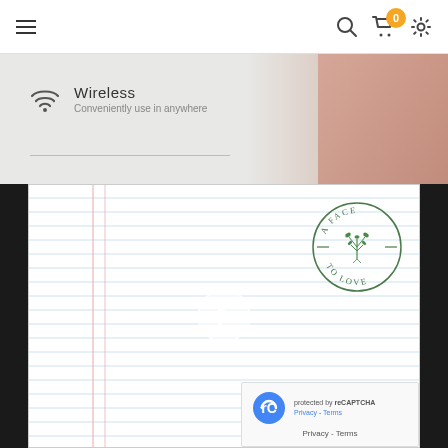Navigation bar with hamburger menu, search icon, cart (0 items), settings icon
[Figure (screenshot): Product banner showing wireless feature with WiFi icon, text 'Wireless - Conveniently use in anywhere', and a skin/body image on the right]
[Figure (screenshot): Notebook paper background with red margin line, a circular stamp logo reading 'A FACE TO LOVE' with botanical illustration, and a video play button in the center]
[Figure (logo): reCAPTCHA badge in bottom right corner with Privacy and Terms links]